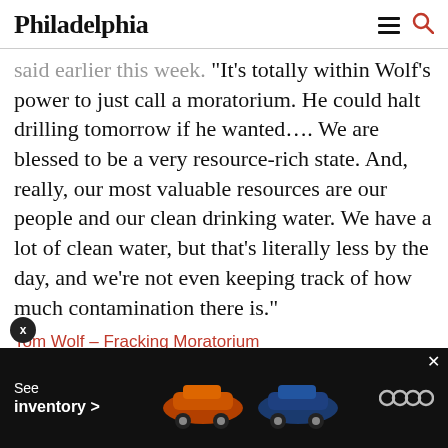Philadelphia
said earlier this week. "It's totally within Wolf's power to just call a moratorium. He could halt drilling tomorrow if he wanted…. We are blessed to be a very resource-rich state. And, really, our most valuable resources are our people and our clean drinking water. We have a lot of clean water, but that's literally less by the day, and we're not even keeping track of how much contamination there is."
Tom Wolf – Fracking Moratorium
[Figure (screenshot): Scribd embedded document preview box showing the Scribd logo and tagline 'Millions of books, audiobooks, magazines, documents, sheet music, and more for free.' with a preview of an 'Executive Order' document.]
[Figure (photo): Audi advertisement banner at bottom of page showing cars and text 'See inventory >' with Audi logo rings.]